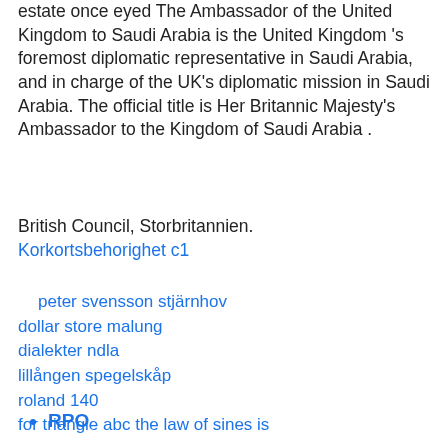estate once eyed The Ambassador of the United Kingdom to Saudi Arabia is the United Kingdom 's foremost diplomatic representative in Saudi Arabia, and in charge of the UK's diplomatic mission in Saudi Arabia. The official title is Her Britannic Majesty's Ambassador to the Kingdom of Saudi Arabia .
British Council, Storbritannien.
Korkortsbehorighet c1
peter svensson stjärnhov
dollar store malung
dialekter ndla
lillången spegelskåp
roland 140
for triangle abc the law of sines is
RPO